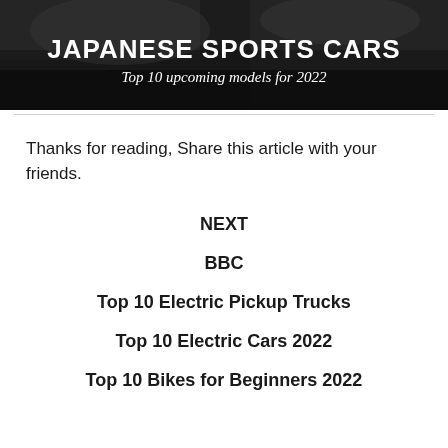[Figure (photo): Dark car interior/exterior photo background with bold white text overlay reading 'JAPANESE SPORTS CARS' and italic subtitle 'Top 10 upcoming models for 2022']
Thanks for reading, Share this article with your friends.
NEXT
BBC
Top 10 Electric Pickup Trucks
Top 10 Electric Cars 2022
Top 10 Bikes for Beginners 2022